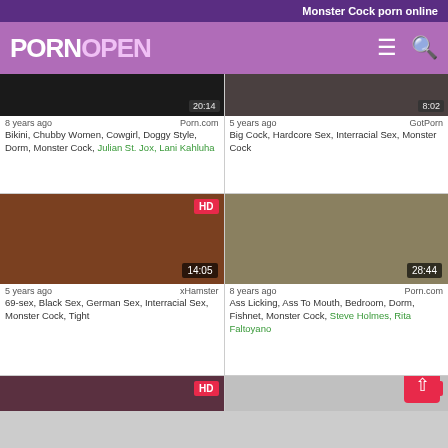Monster Cock porn online
PORNOPEN
8 years ago  Porn.com
Bikini, Chubby Women, Cowgirl, Doggy Style, Dorm, Monster Cock, Julian St. Jox, Lani Kahluha
5 years ago  GotPorn
Big Cock, Hardcore Sex, Interracial Sex, Monster Cock
[Figure (screenshot): Video thumbnail with HD badge and 14:05 duration]
[Figure (screenshot): Video thumbnail with 28:44 duration]
5 years ago  xHamster
69-sex, Black Sex, German Sex, Interracial Sex, Monster Cock, Tight
8 years ago  Porn.com
Ass Licking, Ass To Mouth, Bedroom, Dorm, Fishnet, Monster Cock, Steve Holmes, Rita Faltoyano
[Figure (screenshot): Video thumbnail with HD badge, partial view]
[Figure (screenshot): Video thumbnail with HD badge, partial view]